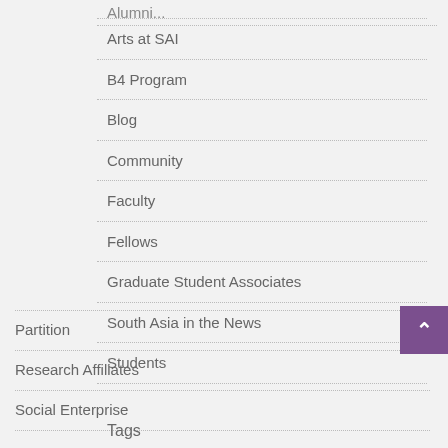Arts at SAI
B4 Program
Blog
Community
Faculty
Fellows
Graduate Student Associates
South Asia in the News
Students
Partition
Research Affiliates
Social Enterprise
Tags